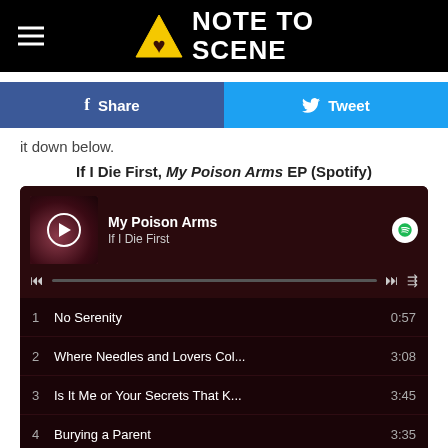NOTE TO SCENE
Share | Tweet
it down below.
If I Die First, My Poison Arms EP (Spotify)
[Figure (screenshot): Spotify embed player showing 'My Poison Arms' EP by 'If I Die First' with tracklist: 1 No Serenity 0:57, 2 Where Needles and Lovers Col... 3:08, 3 Is It Me or Your Secrets That K... 3:45, 4 Burying a Parent 3:35, 5 Six Foot Dug Out Holes 3:04]